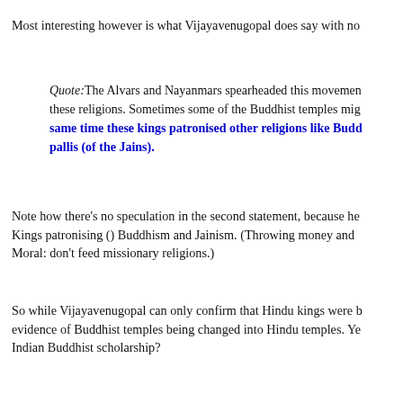Most interesting however is what Vijayavenugopal does say with no…
Quote: The Alvars and Nayanmars spearheaded this movement… these religions. Sometimes some of the Buddhist temples mig… same time these kings patronised other religions like Budd… pallis (of the Jains).
Note how there's no speculation in the second statement, because he… Kings patronising () Buddhism and Jainism. (Throwing money and … Moral: don't feed missionary religions.)
So while Vijayavenugopal can only confirm that Hindu kings were b… evidence of Buddhist temples being changed into Hindu temples. Ye… Indian Buddhist scholarship?